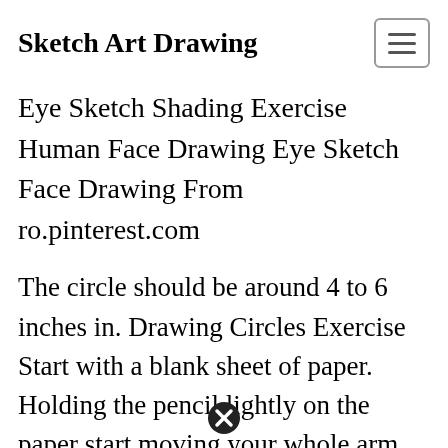Sketch Art Drawing
Eye Sketch Shading Exercise Human Face Drawing Eye Sketch Face Drawing From ro.pinterest.com
The circle should be around 4 to 6 inches in. Drawing Circles Exercise Start with a blank sheet of paper. Holding the pencil lightly on the paper start moving your whole arm quickly in a circular motion. Then change the perspective or move on to the next. Practising this helps to understand the